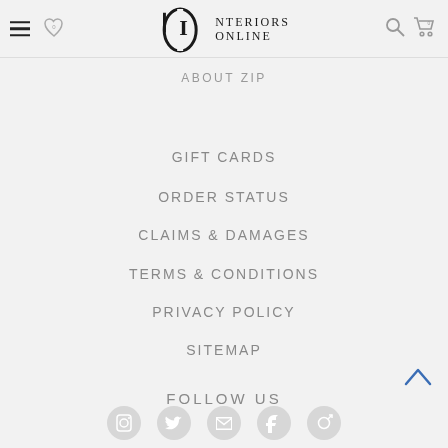Interiors Online
ABOUT ZIP
GIFT CARDS
ORDER STATUS
CLAIMS & DAMAGES
TERMS & CONDITIONS
PRIVACY POLICY
SITEMAP
FOLLOW US
[Figure (illustration): Social media icons row at bottom of page]